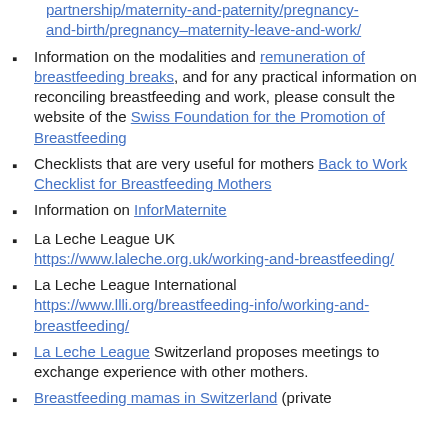partnership/maternity-and-paternity/pregnancy-and-birth/pregnancy–maternity-leave-and-work/ (link)
Information on the modalities and remuneration of breastfeeding breaks, and for any practical information on reconciling breastfeeding and work, please consult the website of the Swiss Foundation for the Promotion of Breastfeeding
Checklists that are very useful for mothers Back to Work Checklist for Breastfeeding Mothers
Information on InforMaternite
La Leche League UK https://www.laleche.org.uk/working-and-breastfeeding/
La Leche League International https://www.llli.org/breastfeeding-info/working-and-breastfeeding/
La Leche League Switzerland proposes meetings to exchange experience with other mothers.
Breastfeeding mamas in Switzerland (private